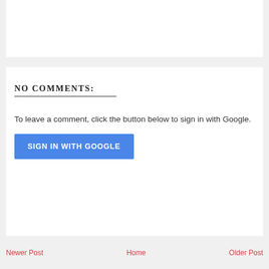NO COMMENTS:
To leave a comment, click the button below to sign in with Google.
[Figure (other): Blue 'SIGN IN WITH GOOGLE' button]
Newer Post    Home    Older Post